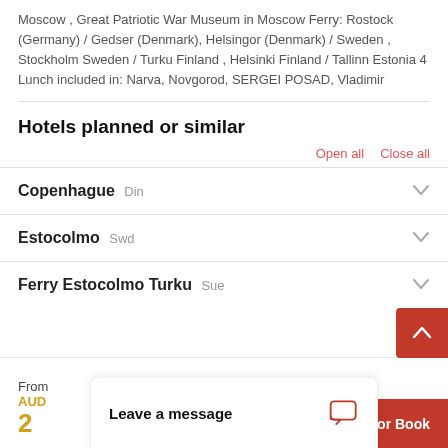Moscow , Great Patriotic War Museum in Moscow Ferry: Rostock (Germany) / Gedser (Denmark), Helsingor (Denmark) / Sweden , Stockholm Sweden / Turku Finland , Helsinki Finland / Tallinn Estonia 4 Lunch included in: Narva, Novgorod, SERGEI POSAD, Vladimir
Hotels planned or similar
Open all   Close all
Copenhague Din
Estocolmo Swd
Ferry Estocolmo Turku Sue
From
AUD
2
+ Quote or Book
Leave a message